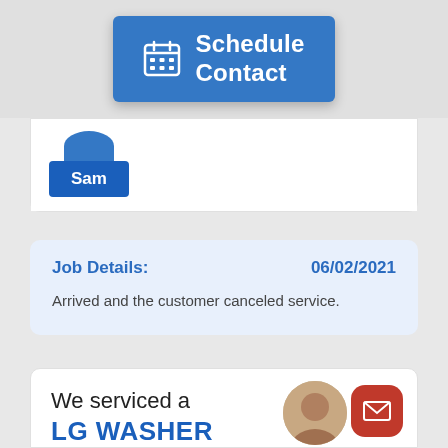[Figure (screenshot): Blue 'Schedule Contact' button with calendar icon on gray background]
Sam
Job Details:   06/02/2021
Arrived and the customer canceled service.
We serviced a
LG WASHER